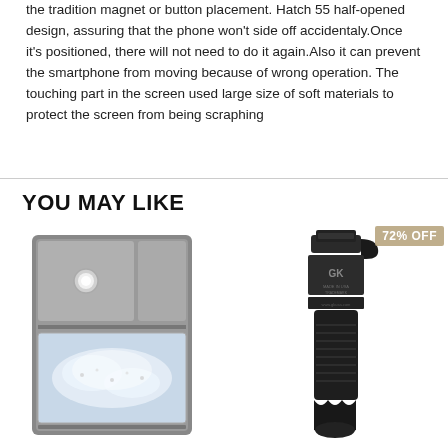the tradition magnet or button placement. Hatch 55 half-opened design, assuring that the phone won't side off accidentaly.Once it's positioned, there will not need to do it again.Also it can prevent the smartphone from moving because of wrong operation. The touching part in the screen used large size of soft materials to protect the screen from being scraphing
YOU MAY LIKE
[Figure (photo): Ice maker machine with transparent water reservoir, gray metallic finish, circular LED indicator on front panel]
[Figure (photo): Black tactical grip/handle device with GK brand logo, made in USA, appears to be a firearm accessory or multi-tool. Has a 72% OFF badge in top right corner.]